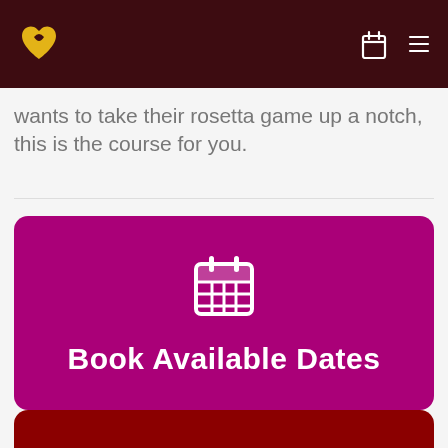Navigation bar with logo and icons
wants to take their rosetta game up a notch, this is the course for you.
[Figure (other): Purple booking card with calendar icon and 'Book Available Dates' text]
[Figure (other): Partial dark red card visible at bottom of page]